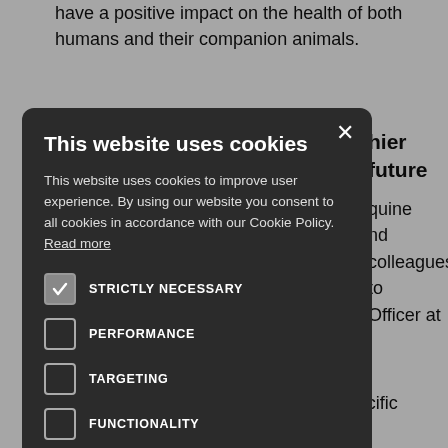have a positive impact on the health of both humans and their companion animals.
hier future
quine nd colleagues to Officer at
d tympanic sed client-
etween a hermometer d rectal d rformed rgo general e n al
thermometer (RT) and a veterinary-specific tympanic
[Figure (screenshot): Cookie consent modal overlay on a dark background. Title: 'This website uses cookies'. Body text: 'This website uses cookies to improve user experience. By using our website you consent to all cookies in accordance with our Cookie Policy. Read more'. Options: STRICTLY NECESSARY (checked), PERFORMANCE (unchecked), TARGETING (unchecked), FUNCTIONALITY (unchecked). Buttons: ACCEPT ALL (green), DECLINE ALL (white outline). Link: SHOW DETAILS with gear icon.]